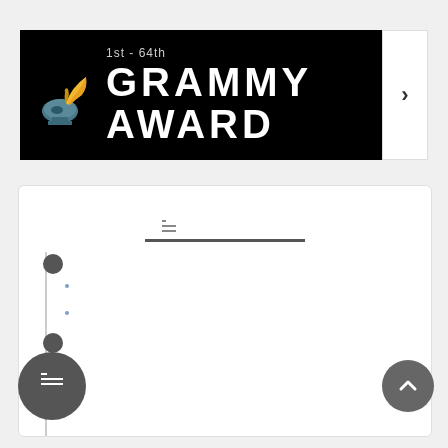[Figure (screenshot): Grammy Award banner with logo, subtitle '1st - 64th', large white text 'GRAMMY AWARD' on black background, and a right-arrow navigation button on the right side.]
목차 (Table of Contents icon with squares)
역사 (History section header with timeline dot)
개요
주요부문
역대 수상 (second section)
역대별